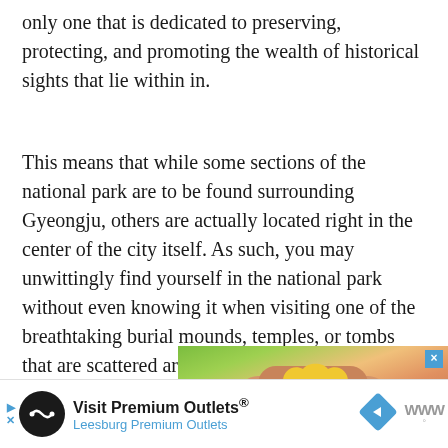only one that is dedicated to preserving, protecting, and promoting the wealth of historical sights that lie within in.
This means that while some sections of the national park are to be found surrounding Gyeongju, others are actually located right in the center of the city itself. As such, you may unwittingly find yourself in the national park without even knowing it when visiting one of the breathtaking burial mounds, temples, or tombs that are scattered around town.
[Figure (photo): Hands holding a yellow heart-shaped object, with green background. Advertisement image for Visit Premium Outlets.]
[Figure (infographic): Advertisement bar: Visit Premium Outlets® Leesburg Premium Outlets, with logo circle and blue diamond arrow icon.]